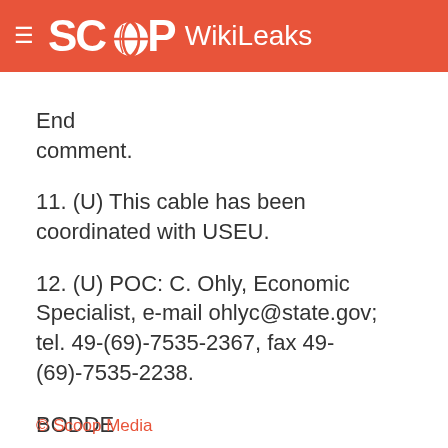SCOOP WikiLeaks
End comment.
11. (U) This cable has been coordinated with USEU.
12. (U) POC: C. Ohly, Economic Specialist, e-mail ohlyc@state.gov; tel. 49-(69)-7535-2367, fax 49-(69)-7535-2238.
BODDE
© Scoop Media